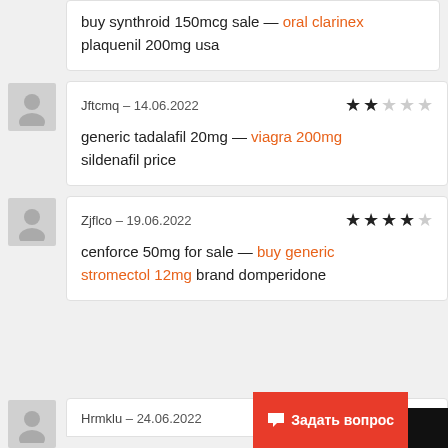buy synthroid 150mcg sale — oral clarinex plaquenil 200mg usa
Jftcmq – 14.06.2022 ★★☆☆☆
generic tadalafil 20mg — viagra 200mg sildenafil price
Zjflco – 19.06.2022 ★★★★☆
cenforce 50mg for sale — buy generic stromectol 12mg brand domperidone
Hrmklu – 24.06.2022